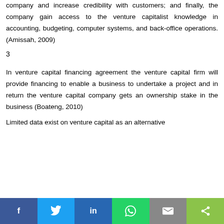company and increase credibility with customers; and finally, the company gain access to the venture capitalist knowledge in accounting, budgeting, computer systems, and back-office operations. (Amissah, 2009)
3
In venture capital financing agreement the venture capital firm will provide financing to enable a business to undertake a project and in return the venture capital company gets an ownership stake in the business (Boateng, 2010)
Limited data exist on venture capital as an alternative